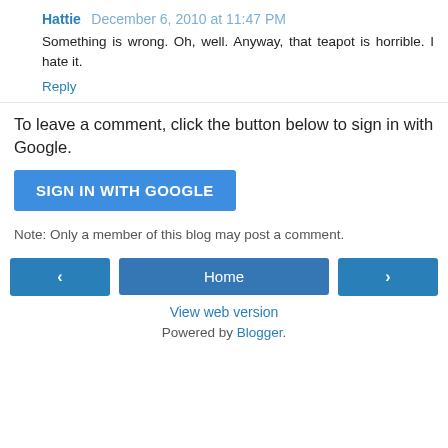Hattie  December 6, 2010 at 11:47 PM
Something is wrong. Oh, well. Anyway, that teapot is horrible. I hate it.
Reply
To leave a comment, click the button below to sign in with Google.
[Figure (other): SIGN IN WITH GOOGLE button]
Note: Only a member of this blog may post a comment.
[Figure (other): Navigation buttons: left arrow, Home, right arrow]
View web version
Powered by Blogger.